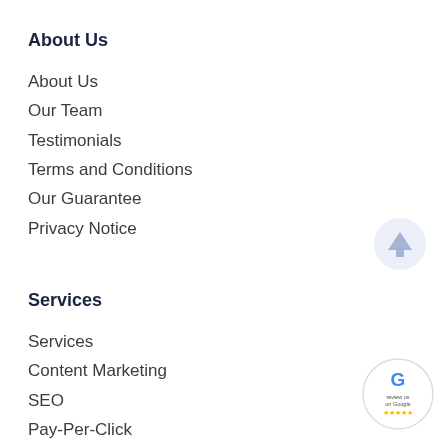About Us
About Us
Our Team
Testimonials
Terms and Conditions
Our Guarantee
Privacy Notice
[Figure (illustration): Light blue circle with upward arrow icon (scroll to top button)]
Services
Services
Content Marketing
SEO
Pay-Per-Click
Website Design
[Figure (logo): Google review badge: circular badge with Google G logo and text 'review us on Google' with gold stars]